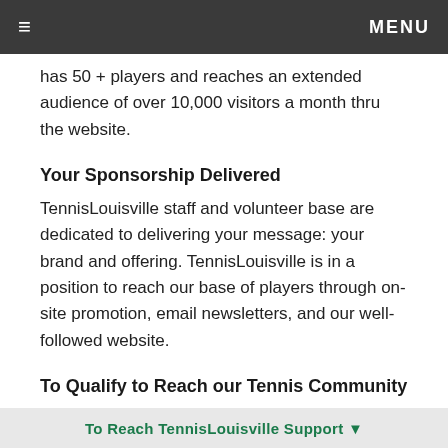≡  MENU
has 50 + players and reaches an extended audience of over 10,000 visitors a month thru the website.
Your Sponsorship Delivered
TennisLouisville staff and volunteer base are dedicated to delivering your message: your brand and offering. TennisLouisville is in a position to reach our base of players through on-site promotion, email newsletters, and our well-followed website.
To Qualify to Reach our Tennis Community
Qualifying is as easy as presenting our staff with
To Reach TennisLouisville Support ▼